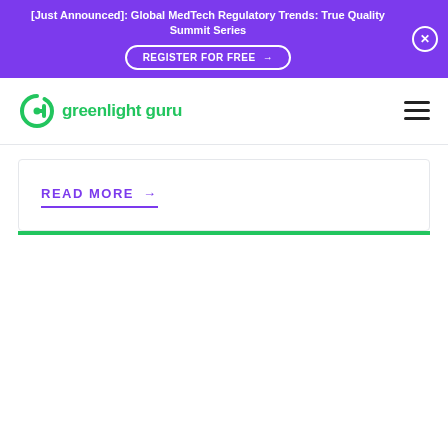[Just Announced]: Global MedTech Regulatory Trends: True Quality Summit Series
REGISTER FOR FREE →
[Figure (logo): Greenlight Guru logo — green stylized 'g' icon with 'greenlight guru' text in green]
READ MORE →